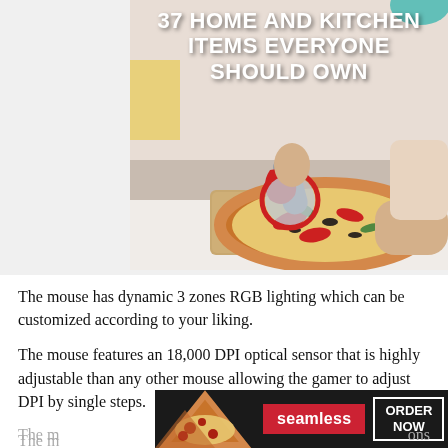[Figure (photo): Photo of a person cutting a pizza with a red pizza cutter on a wooden cutting board, with the text overlay '37 HOME AND KITCHEN ITEMS EVERYONE SHOULD OWN' in white bold font]
The mouse has dynamic 3 zones RGB lighting which can be customized according to your liking.
The mouse features an 18,000 DPI optical sensor that is highly adjustable than any other mouse allowing the gamer to adjust DPI by single steps. [CLOSE button]
[Figure (screenshot): Advertisement banner showing Seamless food delivery with pizza image, red Seamless button, and white ORDER NOW button on dark background]
The m[ouse...] ons